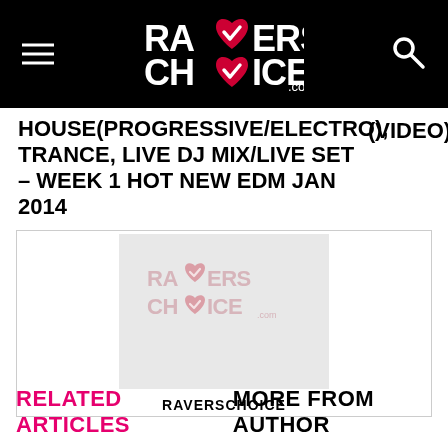RAVERS CHOICE
HOUSE(PROGRESSIVE/ELECTRO), TRANCE, LIVE DJ MIX/LIVE SET – WEEK 1 HOT NEW EDM JAN 2014 (VIDEO)
[Figure (logo): Ravers Choice logo watermark placeholder image with brand name RAVERSCHOICE below]
RELATED ARTICLES   MORE FROM AUTHOR